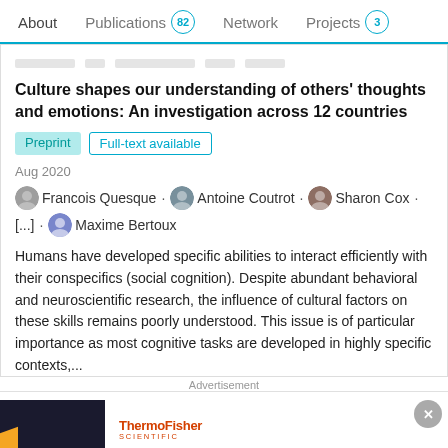About  Publications 82  Network  Projects 3
Culture shapes our understanding of others' thoughts and emotions: An investigation across 12 countries
Preprint  Full-text available
Aug 2020
Francois Quesque · Antoine Coutrot · Sharon Cox · [...] · Maxime Bertoux
Humans have developed specific abilities to interact efficiently with their conspecifics (social cognition). Despite abundant behavioral and neuroscientific research, the influence of cultural factors on these skills remains poorly understood. This issue is of particular importance as most cognitive tasks are developed in highly specific contexts,...
Advertisement
Cloning solutions made for advancement